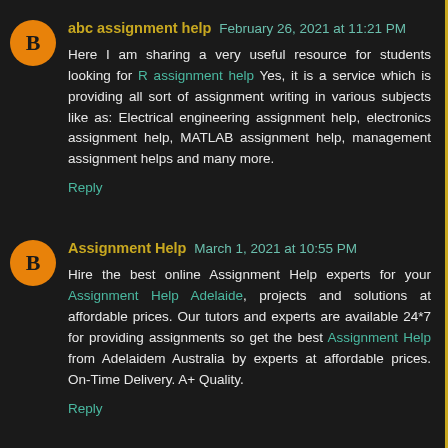abc assignment help February 26, 2021 at 11:21 PM
Here I am sharing a very useful resource for students looking for R assignment help Yes, it is a service which is providing all sort of assignment writing in various subjects like as: Electrical engineering assignment help, electronics assignment help, MATLAB assignment help, management assignment helps and many more.
Reply
Assignment Help March 1, 2021 at 10:55 PM
Hire the best online Assignment Help experts for your Assignment Help Adelaide, projects and solutions at affordable prices. Our tutors and experts are available 24*7 for providing assignments so get the best Assignment Help from Adelaidem Australia by experts at affordable prices. On-Time Delivery. A+ Quality.
Reply